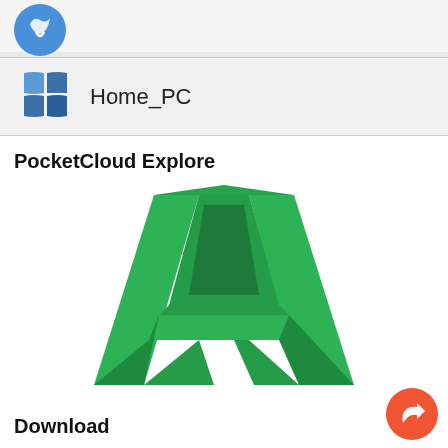[Figure (screenshot): Top partial app bar with a blue circular icon partially visible]
[Figure (screenshot): List item row showing a Windows logo icon and the text Home_PC on a light gray background]
PocketCloud Explore
[Figure (logo): AutoCAD green 3D letter A logo]
Download